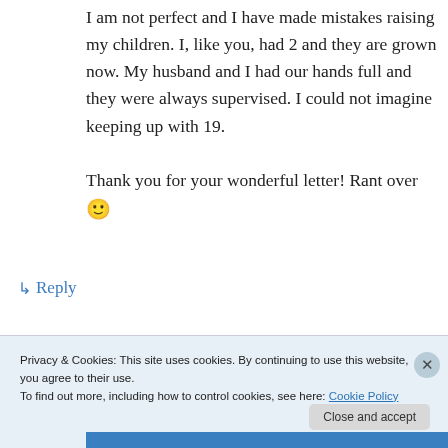I am not perfect and I have made mistakes raising my children. I, like you, had 2 and they are grown now. My husband and I had our hands full and they were always supervised. I could not imagine keeping up with 19.

Thank you for your wonderful letter! Rant over 🙂
↳ Reply
Privacy & Cookies: This site uses cookies. By continuing to use this website, you agree to their use.
To find out more, including how to control cookies, see here: Cookie Policy
Close and accept